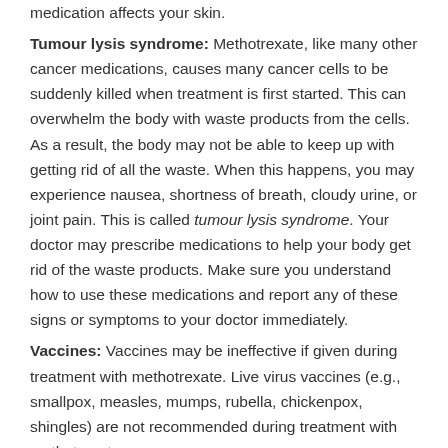medication affects your skin.
Tumour lysis syndrome: Methotrexate, like many other cancer medications, causes many cancer cells to be suddenly killed when treatment is first started. This can overwhelm the body with waste products from the cells. As a result, the body may not be able to keep up with getting rid of all the waste. When this happens, you may experience nausea, shortness of breath, cloudy urine, or joint pain. This is called tumour lysis syndrome. Your doctor may prescribe medications to help your body get rid of the waste products. Make sure you understand how to use these medications and report any of these signs or symptoms to your doctor immediately.
Vaccines: Vaccines may be ineffective if given during treatment with methotrexate. Live virus vaccines (e.g., smallpox, measles, mumps, rubella, chickenpox, shingles) are not recommended during treatment with methotrexate.
Pregnancy: There is a possibility of birth defects if either partner is using methotrexate at the time of conception. If it is